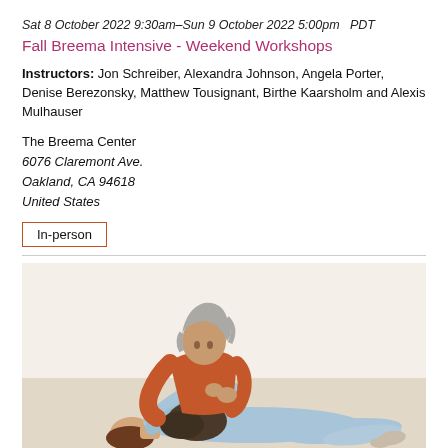Sat 8 October 2022 9:30am–Sun 9 October 2022 5:00pm   PDT
Fall Breema Intensive - Weekend Workshops
Instructors: Jon Schreiber, Alexandra Johnson, Angela Porter, Denise Berezonsky, Matthew Tousignant, Birthe Kaarsholm and Alexis Mulhauser
The Breema Center
6076 Claremont Ave.
Oakland, CA 94618
United States
In-person
[Figure (photo): Two people practicing Breema bodywork: one person lying on the floor in a light blue top, and another person in an orange top kneeling beside them, supporting and stretching their arms/upper body. Indoor setting with light-colored walls and floor.]